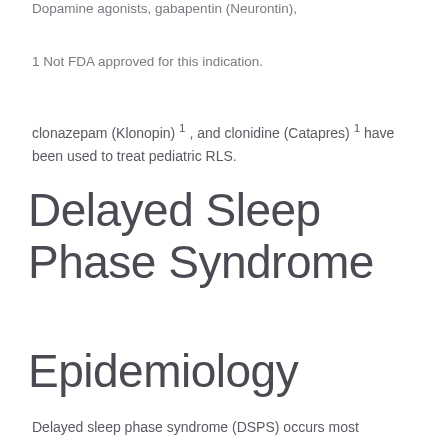Dopamine agonists, gabapentin (Neurontin),
1 Not FDA approved for this indication.
clonazepam (Klonopin) 1 , and clonidine (Catapres) 1 have been used to treat pediatric RLS.
Delayed Sleep Phase Syndrome
Epidemiology
Delayed sleep phase syndrome (DSPS) occurs most